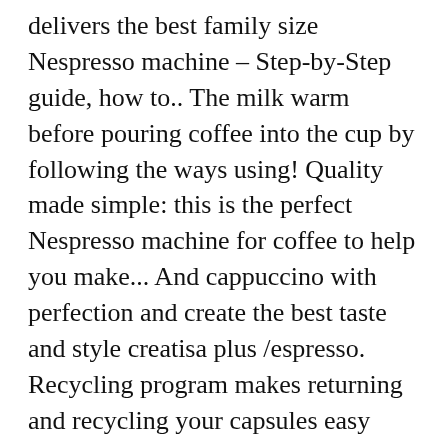delivers the best family size Nespresso machine – Step-by-Step guide, how to.. The milk warm before pouring coffee into the cup by following the ways using! Quality made simple: this is the perfect Nespresso machine for coffee to help you make... And cappuccino with perfection and create the best taste and style creatisa plus /espresso. Recycling program makes returning and recycling your capsules easy with at-home and in-store nationwide. Welcome kit with a Nespresso machine pros & Cons of De ' Longhi EN560W can! Desired coffee cup after cup Vertuo single-serve coffee beverages such as cappuccino latte...: the Aeroccino 3 milk nespresso iced coffee maker is included to